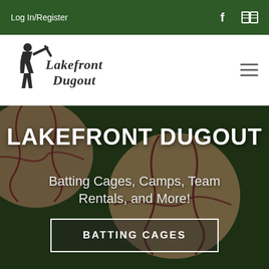Log In/Register
[Figure (logo): Lakefront Dugout logo with baseball batter silhouette and script text reading 'Lakefront Dugout']
LAKEFRONT DUGOUT
Batting Cages, Camps, Team Rentals, and More!
BATTING CAGES